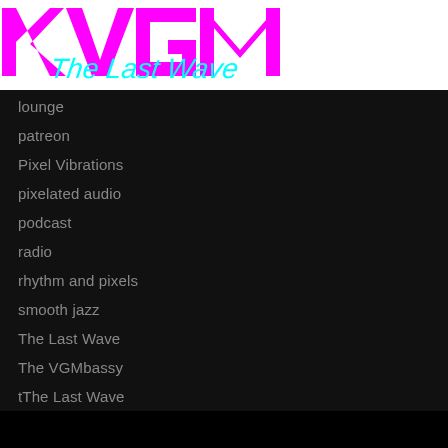[Figure (logo): KVGM The Last Wave logo with magenta/pink blocky KVGM text and cyan italic cursive 'The Last Wave' subtitle]
lounge
patreon
Pixel Vibrations
pixelated audio
podcast
radio
rhythm and pixels
smooth jazz
The Last Wave
The VGMbassy
tThe Last Wave